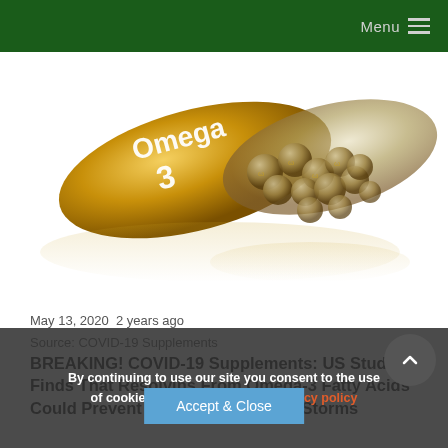Menu
[Figure (photo): A large golden Omega-3 supplement capsule open and spilling smaller silver/gold capsules, labeled 'Omega 3', on a reflective surface]
May 13, 2020  2 years ago
Source: COVID-19 Supplements
BREAKING! COVID-19 Supplements: US Study Finds That Resolvins From Omega-3 Fatty Acids Could Prevent COVID-19 Cytokine Storms
By continuing to use our site you consent to the use of cookies as described in our privacy policy